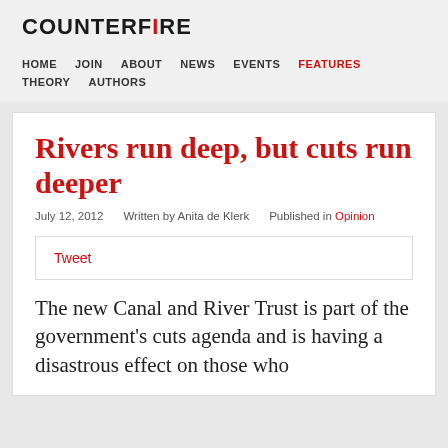COUNTERFIRE
HOME   JOIN   ABOUT   NEWS   EVENTS   FEATURES   THEORY   AUTHORS
Rivers run deep, but cuts run deeper
July 12, 2012   Written by Anita de Klerk   Published in Opinion
Tweet
The new Canal and River Trust is part of the government's cuts agenda and is having a disastrous effect on those who